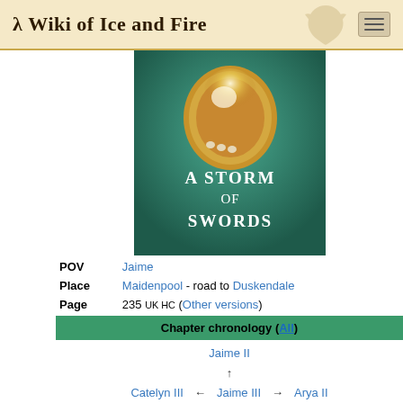A Wiki of Ice and Fire
[Figure (illustration): Book cover of A Storm of Swords showing golden armor against a teal/green background with the title text 'A Storm of Swords']
| POV | Jaime |
| Place | Maidenpool - road to Duskendale |
| Page | 235 UK HC (Other versions) |
Chapter chronology (All)
Jaime II ↑ Catelyn III ← Jaime III → Arya II ↓ Jaime IV